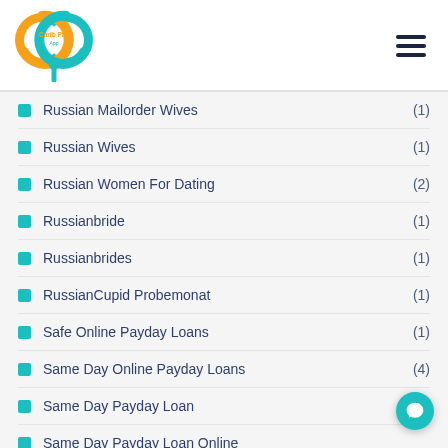Carib Pay App logo and navigation
Russian Mailorder Wives (1)
Russian Wives (1)
Russian Women For Dating (2)
Russianbride (1)
Russianbrides (1)
RussianCupid Probemonat (1)
Safe Online Payday Loans (1)
Same Day Online Payday Loans (4)
Same Day Payday Loan (4)
Same Day Payday Loan Online (?)
Same Day Payday Loans (1)